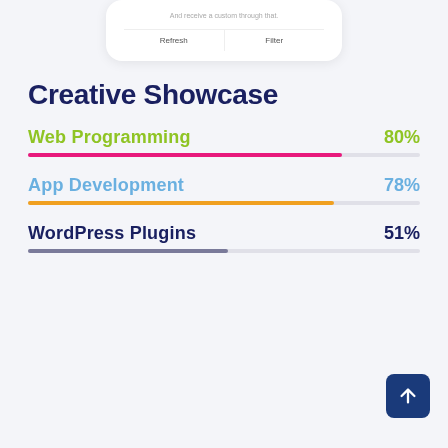[Figure (screenshot): Partial screenshot of a mobile app card with 'Refresh' and 'Filter' buttons]
Creative Showcase
[Figure (bar-chart): Web Programming]
[Figure (bar-chart): App Development]
[Figure (bar-chart): WordPress Plugins]